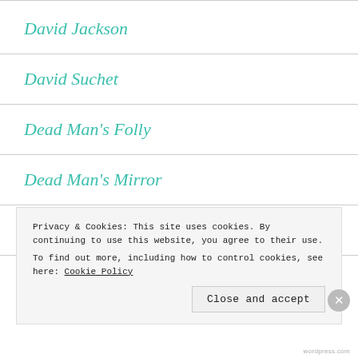David Jackson
David Suchet
Dead Man's Folly
Dead Man's Mirror
Death in the Clouds
Death on the Nile
Privacy & Cookies: This site uses cookies. By continuing to use this website, you agree to their use. To find out more, including how to control cookies, see here: Cookie Policy
Close and accept
Wordpress.com